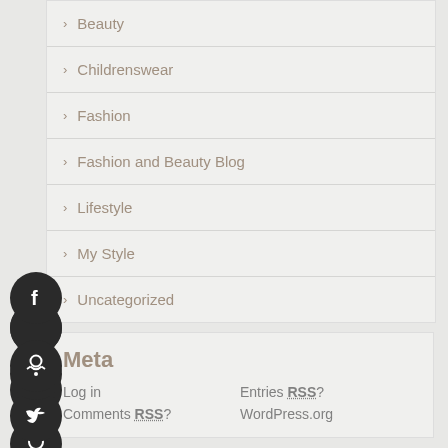> Beauty
> Childrenswear
> Fashion
> Fashion and Beauty Blog
> Lifestyle
> My Style
> Uncategorized
Meta
Log in
Entries RSS?
Comments RSS?
WordPress.org